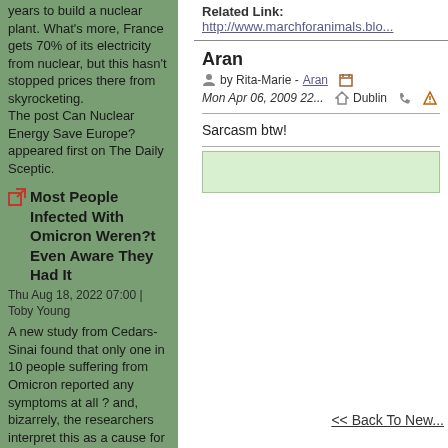years to build a nuclear plant. What's more, France gets 70% of its electricity from nuclear, but this hasn't stopped prices there from skyrocketing.
The post Can Nuclear Energy Save Europe? appeared first on The Daily Sceptic.
Most People Infected With Omicron Weren?t Even Aware They Had It
Thu Aug 18, 2022 07:00 | Toby Young
A new study from Cedars-Sinai found that only one in 10 people suffering from Omicron reported any symptoms at all ? and, bizarrely, the researchers interpret this as a cause for alarm, not a reason to relax.
The post Most People Infected With Omicron Weren?t Even Aware They Had It appeared first on The Daily Sceptic.
Related Link: http://www.marchforanimals.blo...
Aran
by Rita-Marie - Aran  Mon Apr 06, 2009 22...  com  Dublin
Sarcasm btw!
<< Back To New...